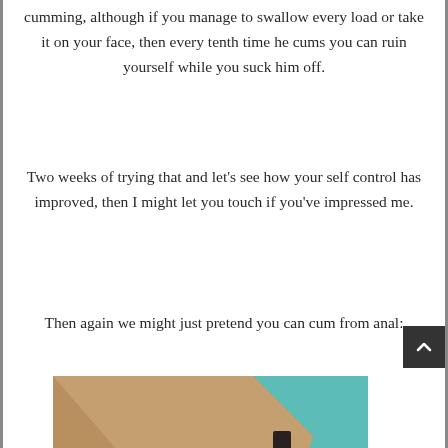cumming, although if you manage to swallow every load or take it on your face, then every tenth time he cums you can ruin yourself while you suck him off.
Two weeks of trying that and let’s see how your self control has improved, then I might let you touch if you’ve impressed me.
Then again we might just pretend you can cum from anal:
[Figure (illustration): Cartoon illustration of a pink/purple train or bus entering a tunnel in a sandy/brown hillside, with a teal sky in the background. The vehicle has windows and large wheels visible at the bottom.]